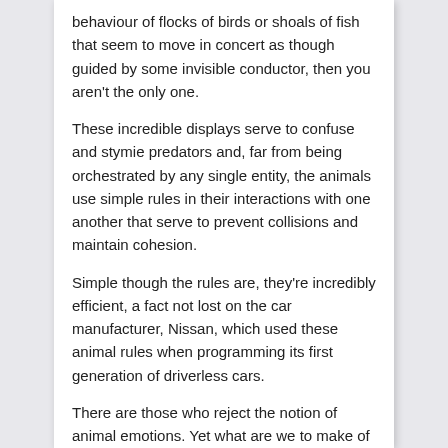behaviour of flocks of birds or shoals of fish that seem to move in concert as though guided by some invisible conductor, then you aren't the only one.
These incredible displays serve to confuse and stymie predators and, far from being orchestrated by any single entity, the animals use simple rules in their interactions with one another that serve to prevent collisions and maintain cohesion.
Simple though the rules are, they're incredibly efficient, a fact not lost on the car manufacturer, Nissan, which used these animal rules when programming its first generation of driverless cars.
There are those who reject the notion of animal emotions. Yet what are we to make of a study that apparently shows empathy among rats?
These animals may not seem the obvious example of an empathetic animal, but time and again they show their kinder side.
Picture, if you will, a dismal rainy day. You're warm and dry inside and doing whatever passes for wet-